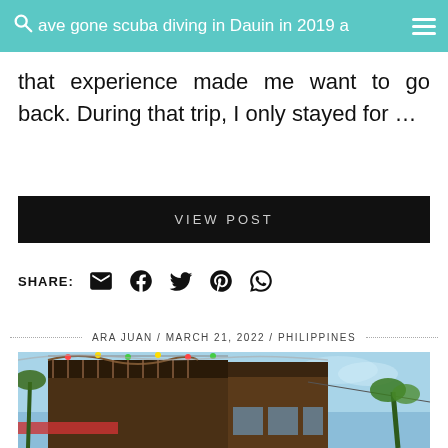ave gone scuba diving in Dauin in 2019 and
that experience made me want to go back. During that trip, I only stayed for …
VIEW POST
SHARE:
ARA JUAN / MARCH 21, 2022 / PHILIPPINES
[Figure (photo): Exterior view of a multi-story wooden building with decorative balcony railings and colorful string lights, photographed from below against a blue sky with palm trees visible in the background.]